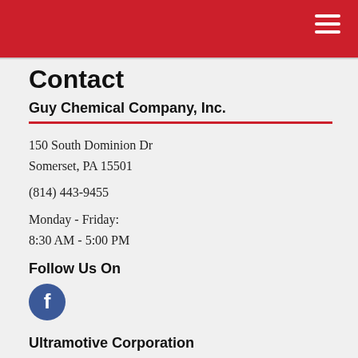Contact
Guy Chemical Company, Inc.
150 South Dominion Dr
Somerset, PA 15501
(814) 443-9455
Monday - Friday:
8:30 AM - 5:00 PM
Follow Us On
[Figure (logo): Facebook logo icon — white 'f' on blue circle background]
Ultramotive Corporation